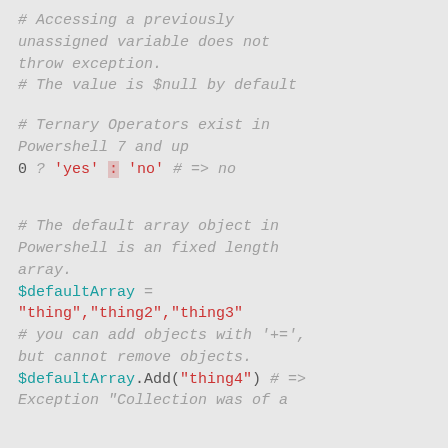# Accessing a previously unassigned variable does not throw exception.
# The value is $null by default
# Ternary Operators exist in Powershell 7 and up
0 ? 'yes' : 'no'  # => no
# The default array object in Powershell is an fixed length array.
$defaultArray = "thing","thing2","thing3"
# you can add objects with '+=', but cannot remove objects.
$defaultArray.Add("thing4") # => Exception "Collection was of a